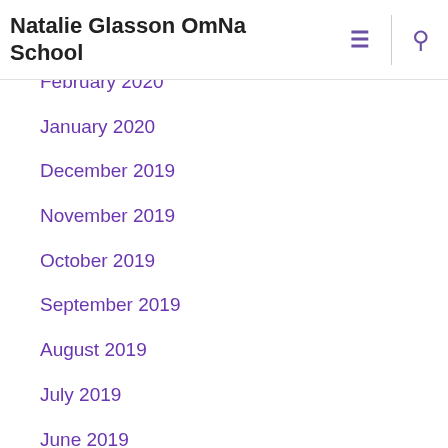Natalie Glasson OmNa School
February 2020
January 2020
December 2019
November 2019
October 2019
September 2019
August 2019
July 2019
June 2019
May 2019
April 2019